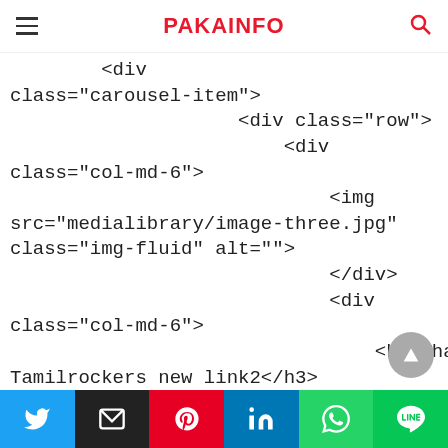PAKAINFO
<div
class="carousel-item">
                    <div class="row">
                        <div
class="col-md-6">
                            <img
src="medialibrary/image-three.jpg"
class="img-fluid" alt="">
                            </div>
                            <div
class="col-md-6">
                                <h3>What is
Tamilrockers new link2</h3>